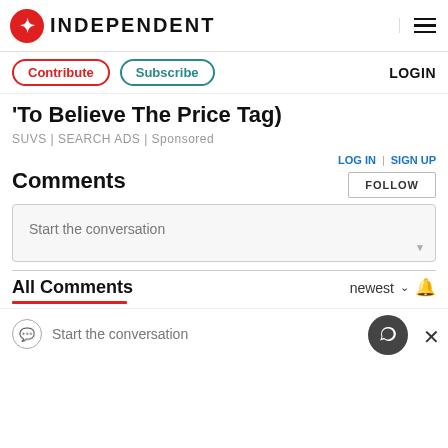INDEPENDENT
Contribute | Subscribe | LOGIN
'To Believe The Price Tag)
SUVS | SEARCH ADS | Sponsored
Comments
LOG IN | SIGN UP
FOLLOW
Start the conversation
All Comments
newest
Start the conversation